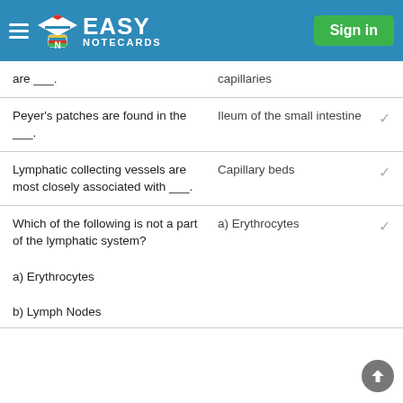Easy Notecards — Sign in
are ___.
Peyer's patches are found in the ___.
Lymphatic collecting vessels are most closely associated with ___.
Which of the following is not a part of the lymphatic system?
a) Erythrocytes
b) Lymph Nodes